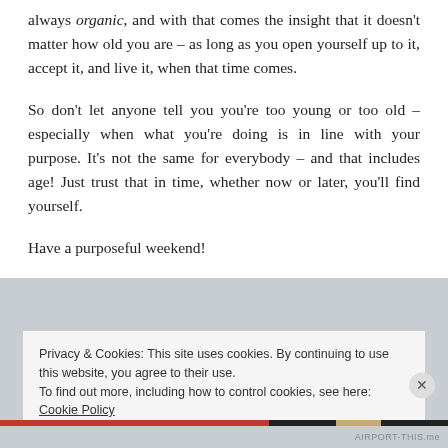always organic, and with that comes the insight that it doesn't matter how old you are – as long as you open yourself up to it, accept it, and live it, when that time comes.
So don't let anyone tell you you're too young or too old – especially when what you're doing is in line with your purpose. It's not the same for everybody – and that includes age! Just trust that in time, whether now or later, you'll find yourself.
Have a purposeful weekend!
Privacy & Cookies: This site uses cookies. By continuing to use this website, you agree to their use. To find out more, including how to control cookies, see here: Cookie Policy
Close and accept